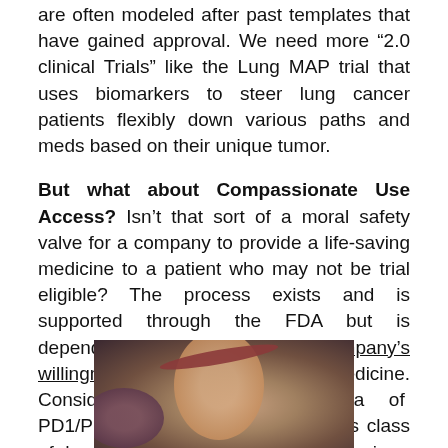are often modeled after past templates that have gained approval. We need more “2.0 clinical Trials” like the Lung MAP trial that uses biomarkers to steer lung cancer patients flexibly down various paths and meds based on their unique tumor.
But what about Compassionate Use Access? Isn’t that sort of a moral safety valve for a company to provide a life-saving medicine to a patient who may not be trial eligible? The process exists and is supported through the FDA but is dependent from the start on a company’s willingness to provide the medicine. Consider the breakthrough area of PD1/PDL1 checkpoint inhibitors. This class of drug has shown exciting game changing
[Figure (photo): Blurred/bokeh photo of a person, possibly a young woman, wearing a dark red headband, with blurred background. Photo is cropped showing head and partial shoulders.]